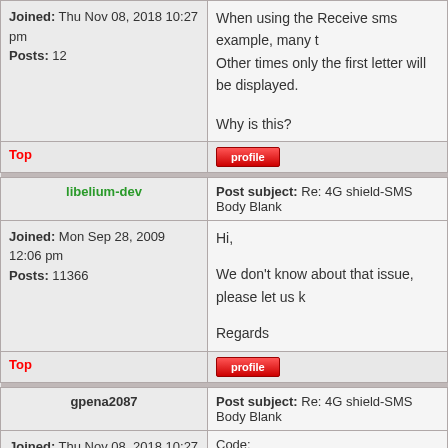Joined: Thu Nov 08, 2018 10:27 pm
Posts: 12
When using the Receive sms example, many t... Other times only the first letter will be displayed.

Why is this?
Top
profile
libelium-dev
Post subject: Re: 4G shield-SMS Body Blank
Joined: Mon Sep 28, 2009 12:06 pm
Posts: 11366
Hi,

We don't know about that issue, please let us k...

Regards
Top
profile
gpena2087
Post subject: Re: 4G shield-SMS Body Blank
Joined: Thu Nov 08, 2018 10:27 pm
Code: